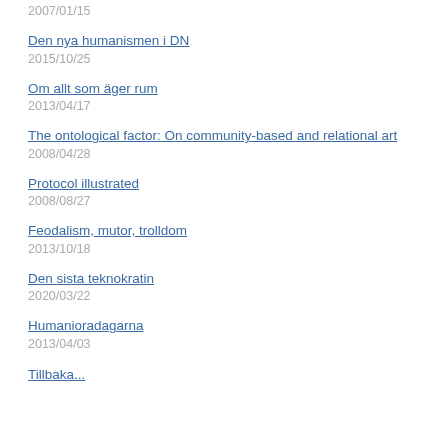2007/01/15
Den nya humanismen i DN
2015/10/25
Om allt som äger rum
2013/04/17
The ontological factor: On community-based and relational art
2008/04/28
Protocol illustrated
2008/08/27
Feodalism, mutor, trolldom
2013/10/18
Den sista teknokratin
2020/03/22
Humanioradagarna
2013/04/03
Tillbaka...